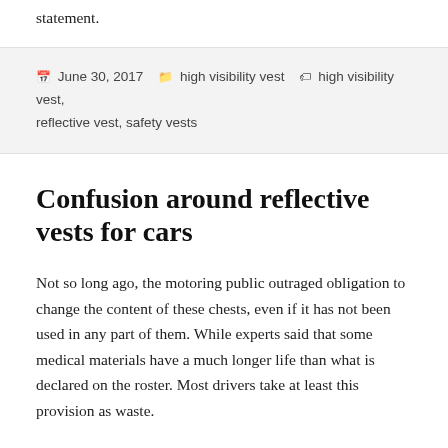statement.
June 30, 2017   high visibility vest   high visibility vest, reflective vest, safety vests
Confusion around reflective vests for cars
Not so long ago, the motoring public outraged obligation to change the content of these chests, even if it has not been used in any part of them. While experts said that some medical materials have a much longer life than what is declared on the roster. Most drivers take at least this provision as waste.